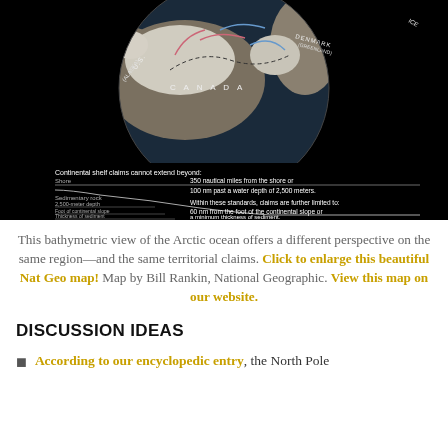[Figure (map): Bathymetric/topographic map of the Arctic Ocean showing territorial claims and continental shelf limits. Top portion shows a circular polar projection map of the Arctic with Canada, Denmark/Greenland, Alaska (U.S.), and Iceland labeled, with colored claim lines. Bottom portion shows a cross-section diagram of continental shelf claims with labels: Shore, Sedimentary rock, 2,500-meter depth, Foot of continental slope, Thickness of sediment. Text explains: Continental shelf claims cannot extend beyond: 350 nautical miles from the shore or 100 nm past a water depth of 2,500 meters. Within these standards, claims are further limited to: 60 nm from the foot of the continental slope or a minimum thickness of sediment.]
This bathymetric view of the Arctic ocean offers a different perspective on the same region—and the same territorial claims. Click to enlarge this beautiful Nat Geo map! Map by Bill Rankin, National Geographic. View this map on our website.
DISCUSSION IDEAS
According to our encyclopedic entry, the North Pole